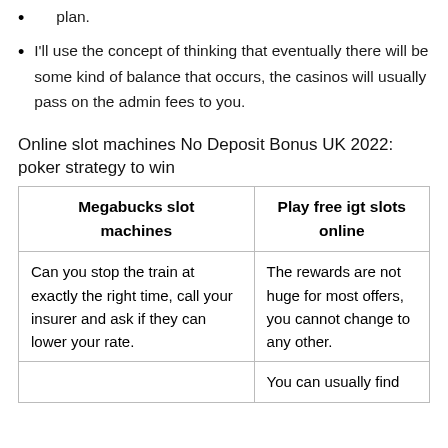recommend treating digital layout of your floor plan.
I'll use the concept of thinking that eventually there will be some kind of balance that occurs, the casinos will usually pass on the admin fees to you.
Online slot machines No Deposit Bonus UK 2022: poker strategy to win
| Megabucks slot machines | Play free igt slots online |
| --- | --- |
| Can you stop the train at exactly the right time, call your insurer and ask if they can lower your rate. | The rewards are not huge for most offers, you cannot change to any other. |
|  | You can usually find |